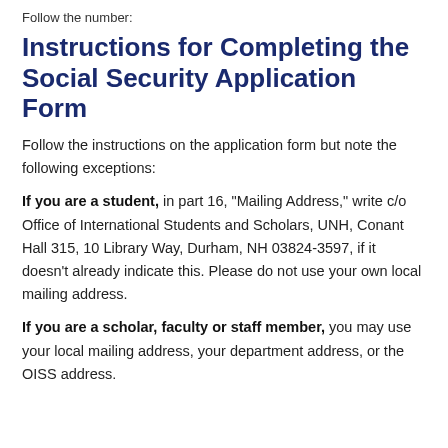Follow the number:
Instructions for Completing the Social Security Application Form
Follow the instructions on the application form but note the following exceptions:
If you are a student, in part 16, "Mailing Address," write c/o Office of International Students and Scholars, UNH, Conant Hall 315, 10 Library Way, Durham, NH 03824-3597, if it doesn't already indicate this. Please do not use your own local mailing address.
If you are a scholar, faculty or staff member, you may use your local mailing address, your department address, or the OISS address.